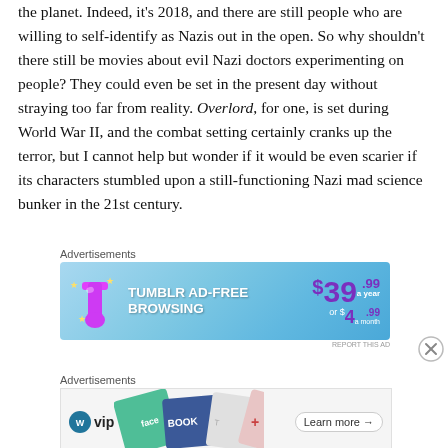the planet. Indeed, it's 2018, and there are still people who are willing to self-identify as Nazis out in the open. So why shouldn't there still be movies about evil Nazi doctors experimenting on people? They could even be set in the present day without straying too far from reality. Overlord, for one, is set during World War II, and the combat setting certainly cranks up the terror, but I cannot help but wonder if it would be even scarier if its characters stumbled upon a still-functioning Nazi mad science bunker in the 21st century.
[Figure (screenshot): Tumblr Ad-Free Browsing advertisement banner: $39.99 a year or $4.99 a month, with Tumblr logo and blue gradient background]
[Figure (screenshot): WordPress VIP advertisement banner showing social media brand logos and a Learn more button]